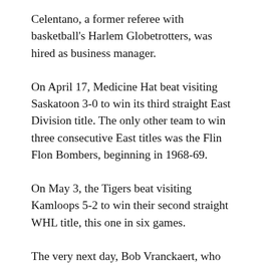Celentano, a former referee with basketball's Harlem Globetrotters, was hired as business manager.
On April 17, Medicine Hat beat visiting Saskatoon 3-0 to win its third straight East Division title. The only other team to win three consecutive East titles was the Flin Flon Bombers, beginning in 1968-69.
On May 3, the Tigers beat visiting Kamloops 5-2 to win their second straight WHL title, this one in six games.
The very next day, Bob Vranckaert, who was in the construction business in Alaska, said he